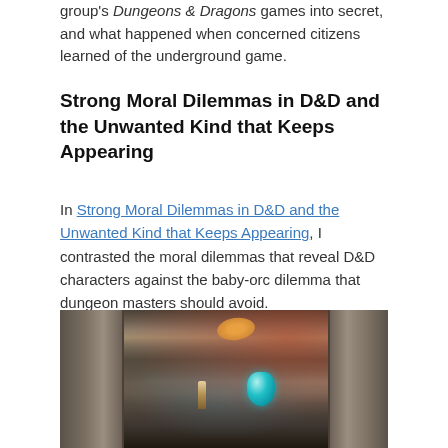group's Dungeons & Dragons games into secret, and what happened when concerned citizens learned of the underground game.
Strong Moral Dilemmas in D&D and the Unwanted Kind that Keeps Appearing
In Strong Moral Dilemmas in D&D and the Unwanted Kind that Keeps Appearing, I contrasted the moral dilemmas that reveal D&D characters against the baby-orc dilemma that dungeon masters should avoid.
[Figure (photo): A photo of a Dungeons & Dragons tabletop miniatures scene with stone dungeon terrain, figurines, a teal gem, and a red-tinted background possibly showing a monster.]